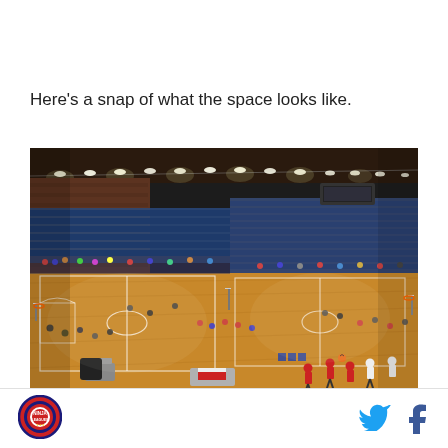Here's a snap of what the space looks like.
[Figure (photo): Indoor sports arena/gymnasium with hardwood basketball courts, blue stadium seating, bright overhead lighting, and players/spectators visible on the court floor. Multiple basketball courts are set up simultaneously.]
[Figure (logo): Circular red and blue logo with text 'NINJA LEAGUES']
[Figure (logo): Twitter bird icon in blue]
[Figure (logo): Facebook 'f' icon in dark blue/navy]